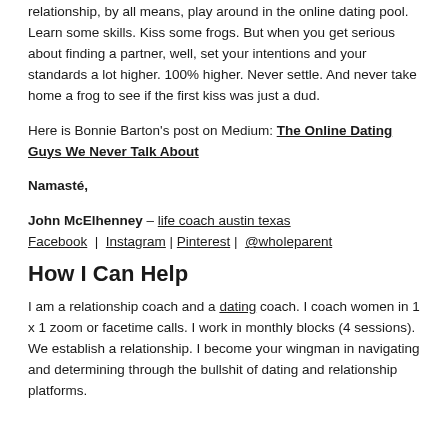relationship, by all means, play around in the online dating pool. Learn some skills. Kiss some frogs. But when you get serious about finding a partner, well, set your intentions and your standards a lot higher. 100% higher. Never settle. And never take home a frog to see if the first kiss was just a dud.
Here is Bonnie Barton's post on Medium: The Online Dating Guys We Never Talk About
Namasté,
John McElhenney – life coach austin texas
Facebook  |  Instagram  |  Pinterest  |  @wholeparent
How I Can Help
I am a relationship coach and a dating coach. I coach women in 1 x 1 zoom or facetime calls. I work in monthly blocks (4 sessions). We establish a relationship. I become your wingman in navigating and meeting through the bullshit of dating and relationship platforms.